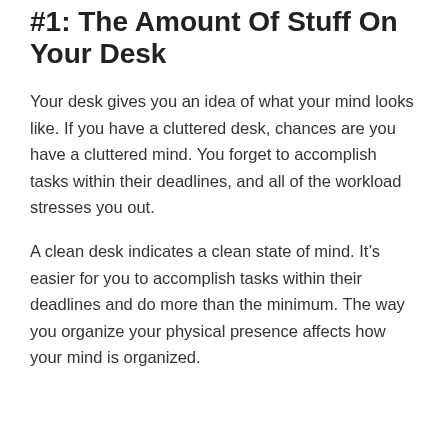#1: The Amount Of Stuff On Your Desk
Your desk gives you an idea of what your mind looks like. If you have a cluttered desk, chances are you have a cluttered mind. You forget to accomplish tasks within their deadlines, and all of the workload stresses you out.
A clean desk indicates a clean state of mind. It’s easier for you to accomplish tasks within their deadlines and do more than the minimum. The way you organize your physical presence affects how your mind is organized.